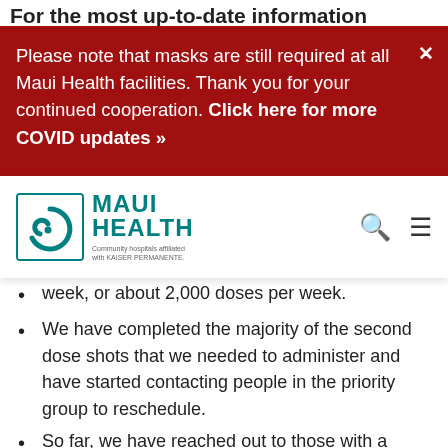For the most up-to-date information
Please note that masks are still required at all Maui Health facilities. Thank you for your continued cooperation. Click here for more COVID updates »
[Figure (logo): Maui Health logo with teal spiral symbol and text 'MAUI HEALTH - Community hospitals affiliated with KAISER PERMANENTE']
week, or about 2,000 doses per week.
We have completed the majority of the second dose shots that we needed to administer and have started contacting people in the priority group to reschedule.
So far, we have reached out to those with a previously scheduled appointment on January 17 through 22, which includes our most high-risk kupuna.
We will continue to invite priority group members (those that had an appointment that